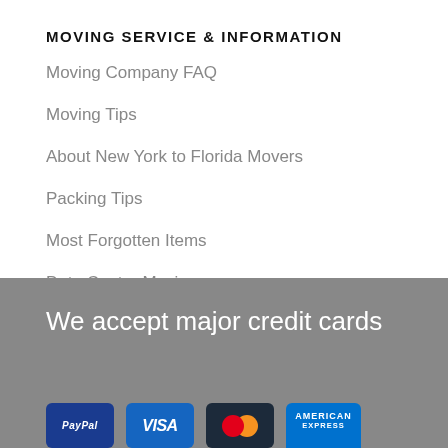MOVING SERVICE & INFORMATION
Moving Company FAQ
Moving Tips
About New York to Florida Movers
Packing Tips
Most Forgotten Items
Data Center Moving
We accept major credit cards
[Figure (other): Payment method logos: PayPal, Visa, Mastercard, American Express credit card icons]